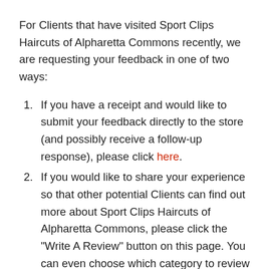For Clients that have visited Sport Clips Haircuts of Alpharetta Commons recently, we are requesting your feedback in one of two ways:
If you have a receipt and would like to submit your feedback directly to the store (and possibly receive a follow-up response), please click here.
If you would like to share your experience so that other potential Clients can find out more about Sport Clips Haircuts of Alpharetta Commons, please click the "Write A Review" button on this page. You can even choose which category to review - Haircut, Stylist, Product, Service and Overall Experience. We can't wait to find out what you have to say - and we certainly hope to see